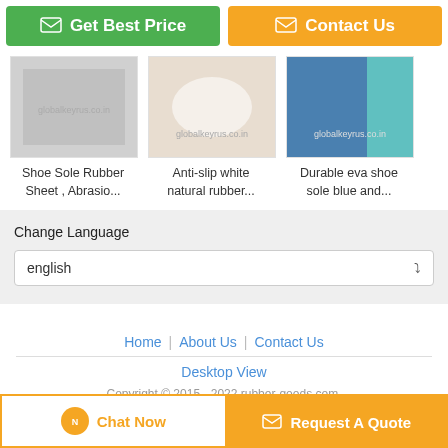[Figure (screenshot): Green 'Get Best Price' button and orange 'Contact Us' button at top]
[Figure (photo): Shoe Sole Rubber Sheet thumbnail image]
Shoe Sole Rubber Sheet , Abrasio...
[Figure (photo): Anti-slip white natural rubber thumbnail image]
Anti-slip white natural rubber...
[Figure (photo): Durable eva shoe sole blue and thumbnail image]
Durable eva shoe sole blue and...
Change Language
english
Home | About Us | Contact Us
Desktop View
Copyright © 2015 - 2022 rubber-goods.com. All rights reserved.
[Figure (screenshot): Bottom bar with Chat Now and Request A Quote buttons]